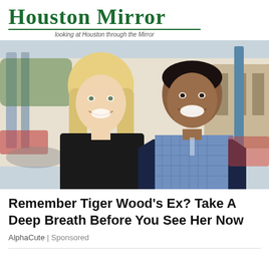Houston Mirror — looking at Houston through the Mirror
[Figure (photo): A smiling blonde woman in a black top and a smiling man in a navy blazer over a blue checked shirt, posing together outdoors in front of a building with columns.]
Remember Tiger Wood's Ex? Take A Deep Breath Before You See Her Now
AlphaCute | Sponsored